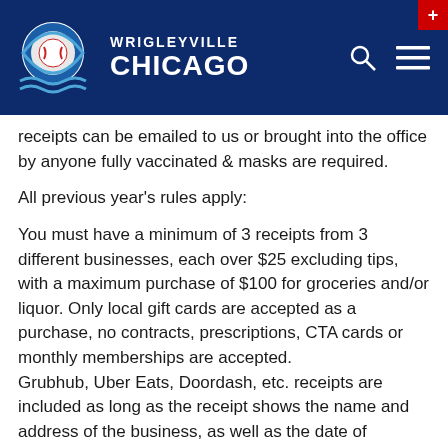Wrigleyville Chicago
receipts can be emailed to us or brought into the office by anyone fully vaccinated & masks are required.
All previous year's rules apply:
You must have a minimum of 3 receipts from 3 different businesses, each over $25 excluding tips, with a maximum purchase of $100 for groceries and/or liquor. Only local gift cards are accepted as a purchase, no contracts, prescriptions, CTA cards or monthly memberships are accepted.
Grubhub, Uber Eats, Doordash, etc. receipts are included as long as the receipt shows the name and address of the business, as well as the date of purchase
Receipts must be dated between the dates of the promotion (November 1, 2021 until December 23rd,